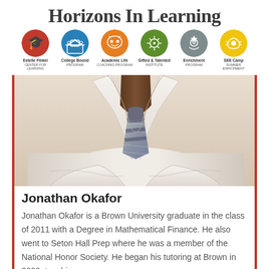Horizons In Learning
[Figure (logo): Six circular icons representing programs: Estelle Finkel Center for Learning (red), College Bound Program (blue), Academic Life Coaching Program (orange), Gifted & Talented Institute (green), Enrichment Program (gray/gear), SEE Camp Summer Enrichment (yellow)]
[Figure (photo): Close-up photo of a person wearing a white dress shirt and striped tie, cut off at the neck, professional attire]
Jonathan Okafor
Jonathan Okafor is a Brown University graduate in the class of 2011 with a Degree in Mathematical Finance. He also went to Seton Hall Prep where he was a member of the National Honor Society. He began his tutoring at Brown in 2008, teaching